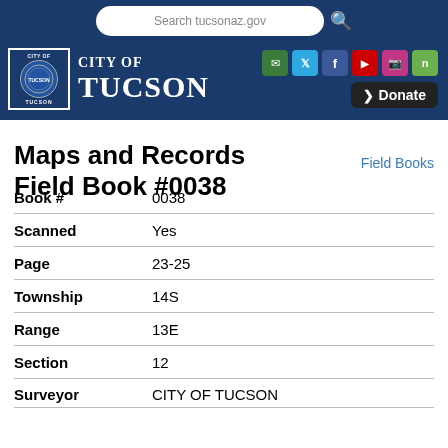Search tucsonaz.gov
[Figure (logo): City of Tucson logo with seal and navigation header including social media icons and Donate button]
Maps and Records Field Book #0038
Field Books
| Field | Value |
| --- | --- |
| Book # | 0038 |
| Scanned | Yes |
| Page | 23-25 |
| Township | 14S |
| Range | 13E |
| Section | 12 |
| Surveyor | CITY OF TUCSON |